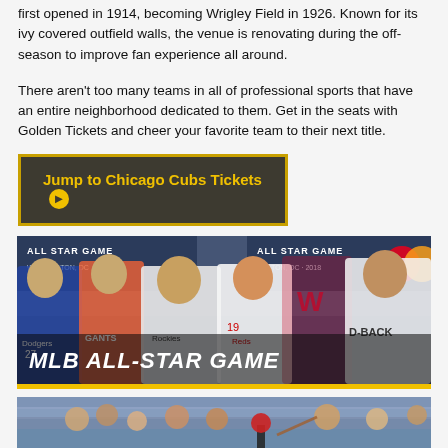first opened in 1914, becoming Wrigley Field in 1926. Known for its ivy covered outfield walls, the venue is renovating during the off-season to improve fan experience all around.
There aren't too many teams in all of professional sports that have an entire neighborhood dedicated to them. Get in the seats with Golden Tickets and cheer your favorite team to their next title.
Jump to Chicago Cubs Tickets ➔
[Figure (photo): MLB All-Star Game promotional photo showing baseball players in various team uniforms including Dodgers, Giants, Rockies, Reds, Nationals, and Diamondbacks jerseys, with 'ALL STAR GAME WASHINGTON, DC 2018' signage in the background. Text overlay reads 'MLB ALL-STAR GAME']
[Figure (photo): Partial photo of a baseball game scene showing crowd in stands and a player batting]